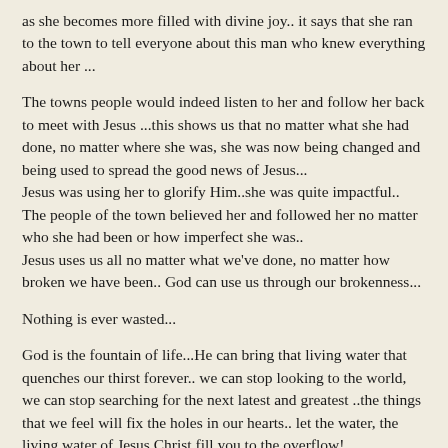as she becomes more filled with divine joy.. it says that she ran to the town to tell everyone about this man who knew everything about her ...
The towns people would indeed listen to her and follow her back to meet with Jesus ...this shows us that no matter what she had done, no matter where she was, she was now being changed and being used to spread the good news of Jesus...
Jesus was using her to glorify Him..she was quite impactful..  The people of the town believed her and followed her no matter who she had been or how imperfect she was..
Jesus uses us all no matter what we've done, no matter how broken we have been.. God can use us through our brokenness...
Nothing is ever wasted...
God is the fountain of life...He can bring that living water that quenches our thirst forever.. we can stop looking to the world, we can stop searching for the next latest and greatest ..the things that we feel will fix the holes in our hearts.. let the water, the living water of Jesus Christ fill you to the overflow!